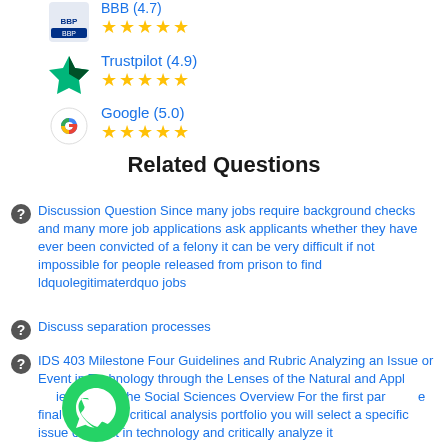[Figure (logo): BBP logo with stars rating]
[Figure (logo): Trustpilot (4.9) with 5 stars]
[Figure (logo): Google (5.0) with 5 stars]
Related Questions
Discussion Question Since many jobs require background checks and many more job applications ask applicants whether they have ever been convicted of a felony it can be very difficult if not impossible for people released from prison to find ldquolegitimaterdquo jobs
Discuss separation processes
IDS 403 Milestone Four Guidelines and Rubric Analyzing an Issue or Event in Technology through the Lenses of the Natural and Applied Sciences and the Social Sciences Overview For the first part of the final project the critical analysis portfolio you will select a specific issue or event in technology and critically analyze it
[Figure (logo): WhatsApp green chat bubble icon]